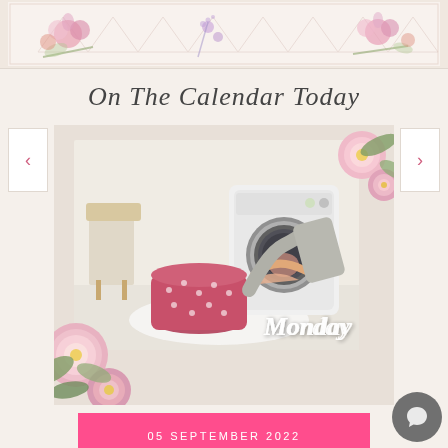[Figure (illustration): Top decorative banner with floral pattern — pink flowers, green leaves, and geometric triangle/chevron motifs on a light background]
On The Calendar Today
[Figure (photo): Carousel card showing a laundry scene: person loading a washing machine, pink dotted laundry basket in foreground, decorative pink peonies overlaid at left and top-right. Text 'Monday' in white script overlaid on the image.]
05 SEPTEMBER 2022
MONDAY TASKS